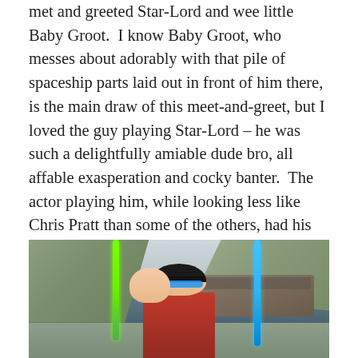met and greeted Star-Lord and wee little Baby Groot.  I know Baby Groot, who messes about adorably with that pile of spaceship parts laid out in front of him there, is the main draw of this meet-and-greet, but I loved the guy playing Star-Lord – he was such a delightfully amiable dude bro, all affable exasperation and cocky banter.  The actor playing him, while looking less like Chris Pratt than some of the others, had his voice and mannerisms down PAT.  Totally delightful!  And yes, yes, you. are. Groot.  We know, buddy, we know.  You literally speak of nothing else.  Just like me and Disney!
[Figure (photo): Photo of a man wearing a black cap, blue mirror sunglasses, and a red jacket, carrying a child on his back. They are holding green and blue lightsabers in front of a Star Wars-themed backdrop with rocky cliffs and a spaceship.]